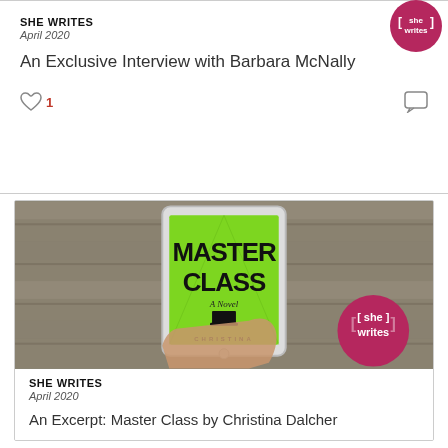[Figure (logo): She Writes circular badge logo, crimson/dark pink background with white bracket icons and 'she writes' text]
SHE WRITES
April 2020
An Exclusive Interview with Barbara McNally
[Figure (illustration): Heart icon with like count 1 in red on left, comment speech bubble icon on right]
[Figure (photo): A hand holding a white iPad/tablet displaying the book cover of 'Master Class: A Novel' by Christina Dalcher, with a bright green cover featuring the title in bold black letters, on a wooden plank background. A She Writes circular badge logo is overlaid at bottom right.]
SHE WRITES
April 2020
An Excerpt: Master Class by Christina Dalcher